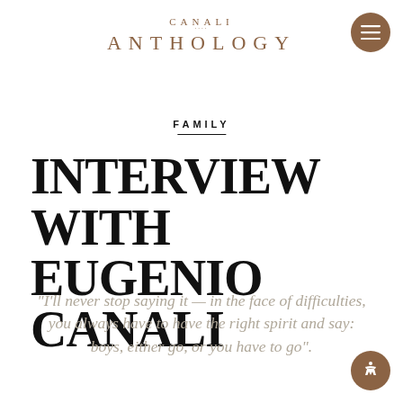CANALI ANTHOLOGY
FAMILY
INTERVIEW WITH EUGENIO CANALI
“I’ll never stop saying it — in the face of difficulties, you always have to have the right spirit and say: boys, either go, or you have to go”.